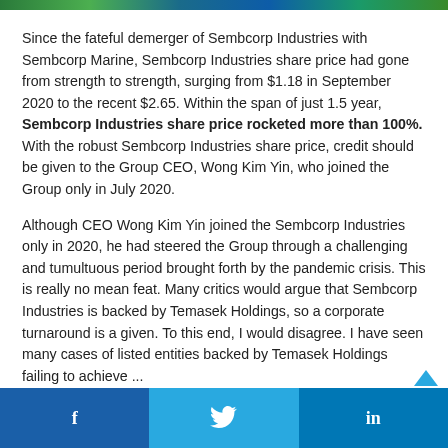[Figure (photo): Colorful image strip at the top of the page]
Since the fateful demerger of Sembcorp Industries with Sembcorp Marine, Sembcorp Industries share price had gone from strength to strength, surging from $1.18 in September 2020 to the recent $2.65. Within the span of just 1.5 year, Sembcorp Industries share price rocketed more than 100%. With the robust Sembcorp Industries share price, credit should be given to the Group CEO, Wong Kim Yin, who joined the Group only in July 2020.
Although CEO Wong Kim Yin joined the Sembcorp Industries only in 2020, he had steered the Group through a challenging and tumultuous period brought forth by the pandemic crisis. This is really no mean feat. Many critics would argue that Sembcorp Industries is backed by Temasek Holdings, so a corporate turnaround is a given. To this end, I would disagree. I have seen many cases of listed entities backed by Temasek Holdings failing to achieve ...
f  | social share buttons for Facebook, Twitter, LinkedIn